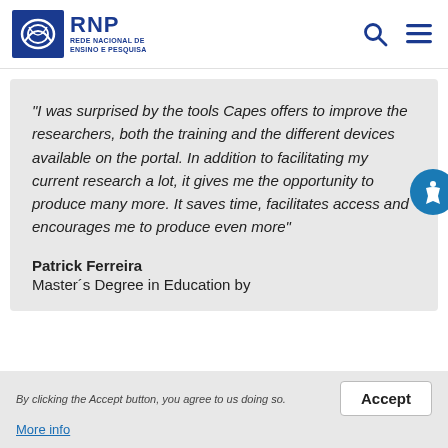RNP Rede Nacional de Ensino e Pesquisa
“I was surprised by the tools Capes offers to improve the researchers, both the training and the different devices available on the portal. In addition to facilitating my current research a lot, it gives me the opportunity to produce many more. It saves time, facilitates access and encourages me to produce even more”
Patrick Ferreira
Masterʽs Degree in Education by
By clicking the Accept button, you agree to us doing so. More info  Accept